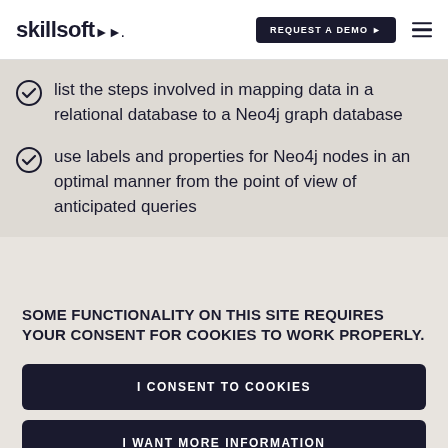skillsoft | REQUEST A DEMO
list the steps involved in mapping data in a relational database to a Neo4j graph database
use labels and properties for Neo4j nodes in an optimal manner from the point of view of anticipated queries
SOME FUNCTIONALITY ON THIS SITE REQUIRES YOUR CONSENT FOR COOKIES TO WORK PROPERLY.
I CONSENT TO COOKIES
I WANT MORE INFORMATION